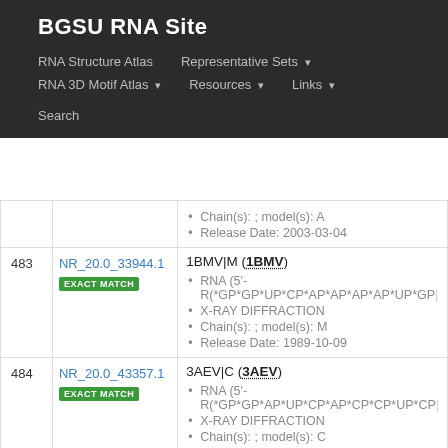BGSU RNA Site
RNA Structure Atlas | Representative Sets ▾ | RNA 3D Motif Atlas ▾ | Resources ▾ | Links ▾ | Search
| # | ID | Info |
| --- | --- | --- |
|  |  | Chain(s): ; model(s): A
Release Date: 2003-03-04 |
| 483 | NR_20.0_33944.1 EXACT MATCH | 1BMV|M (1BMV)
RNA (5'-R(*GP*GP*UP*CP*AP*AP*AP*AP*UP*GP...
X-RAY DIFFRACTION
Chain(s): ; model(s): M
Release Date: 1989-10-09 |
| 484 | NR_20.0_43357.1 EXACT MATCH | 3AEV|C (3AEV)
RNA (5'-R(*GP*GP*AP*UP*CP*AP*CP*CP*UP*CP...
X-RAY DIFFRACTION
Chain(s): ; model(s): C |